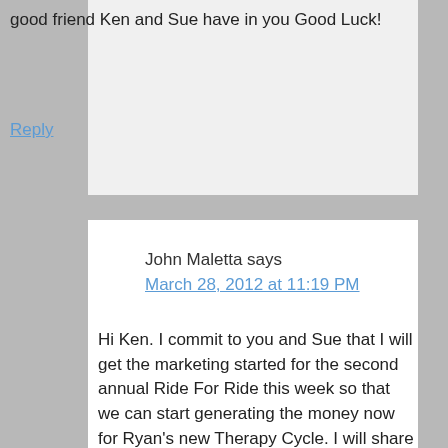good friend Ken and Sue have in you Good Luck!
Reply
John Maletta says
March 28, 2012 at 11:19 PM
Hi Ken. I commit to you and Sue that I will get the marketing started for the second annual Ride For Ride this week so that we can start generating the money now for Ryan's new Therapy Cycle. I will share it with you on Facebook and I'm asking for all of your friends and neighbors in Ashburn and throughout the country to help Ryan by sponsoring our bike trip fundraiser for Ryan. We raised over $7,000 last year and with everybody's help, let try to beat that